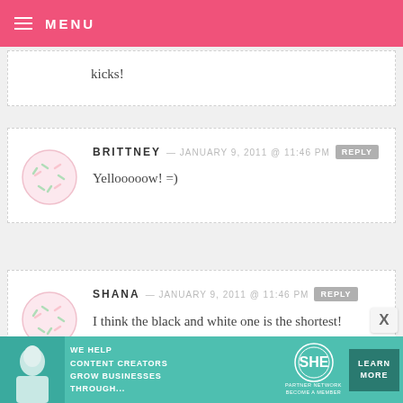MENU
kicks!
BRITTNEY — JANUARY 9, 2011 @ 11:46 PM
Yellooooow! =)
SHANA — JANUARY 9, 2011 @ 11:46 PM
I think the black and white one is the shortest!
[Figure (infographic): SHE Partner Network advertisement banner: WE HELP CONTENT CREATORS GROW BUSINESSES THROUGH... with LEARN MORE button]